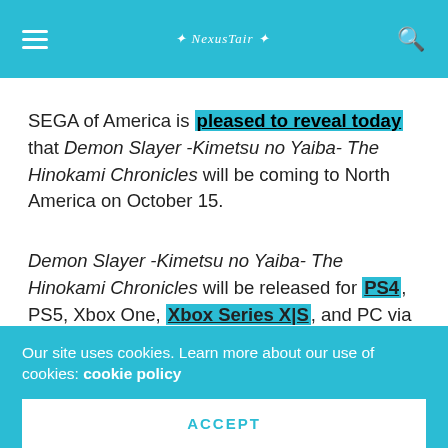≡  [logo]  🔍
SEGA of America is pleased to reveal today that Demon Slayer -Kimetsu no Yaiba- The Hinokami Chronicles will be coming to North America on October 15.
Demon Slayer -Kimetsu no Yaiba- The Hinokami Chronicles will be released for PS4, PS5, Xbox One, Xbox Series X|S, and PC via Steam. For players who will pre-order the Digital Deluxe Editon, early access
Our site uses cookies. Learn more about our use of cookies: cookie policy
ACCEPT